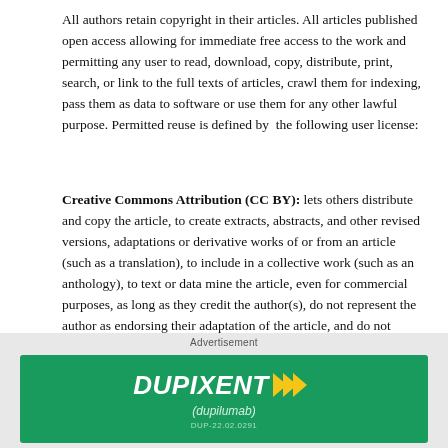All authors retain copyright in their articles. All articles published open access allowing for immediate free access to the work and permitting any user to read, download, copy, distribute, print, search, or link to the full texts of articles, crawl them for indexing, pass them as data to software or use them for any other lawful purpose. Permitted reuse is defined by  the following user license:
Creative Commons Attribution (CC BY): lets others distribute and copy the article, to create extracts, abstracts, and other revised versions, adaptations or derivative works of or from an article (such as a translation), to include in a collective work (such as an anthology), to text or data mine the article, even for commercial purposes, as long as they credit the author(s), do not represent the author as endorsing their adaptation of the article, and do not modify the article in such a way as to damage the author's honor or reputation.
Authors retain copyright in their work and license the publisher to publish the content. The publisher is the National Society for
[Figure (other): Advertisement banner for Dupixent (dupilumab) — green background with white bold italic text 'DUPIXENT' with yellow double-arrow chevron logo, subtitle '(dupilumab)', and small regulatory code 'DUP-22.02.0291']